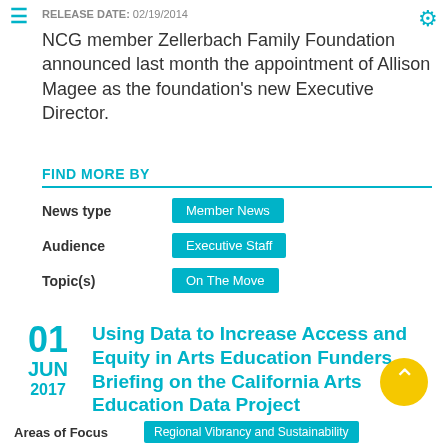RELEASE DATE: 02/19/2014
NCG member Zellerbach Family Foundation announced last month the appointment of Allison Magee as the foundation's new Executive Director.
FIND MORE BY
| Field | Value |
| --- | --- |
| News type | Member News |
| Audience | Executive Staff |
| Topic(s) | On The Move |
Using Data to Increase Access and Equity in Arts Education Funders Briefing on the California Arts Education Data Project
01 JUN 2017
| Field | Value |
| --- | --- |
| Areas of Focus | Regional Vibrancy and Sustainability |